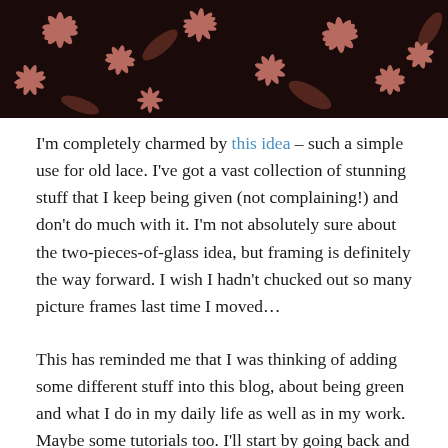[Figure (photo): Top portion of a floral textile or wallpaper with pink/salmon flowers on a dark brown/black background]
I'm completely charmed by this idea – such a simple use for old lace. I've got a vast collection of stunning stuff that I keep being given (not complaining!) and don't do much with it. I'm not absolutely sure about the two-pieces-of-glass idea, but framing is definitely the way forward. I wish I hadn't chucked out so many picture frames last time I moved…
This has reminded me that I was thinking of adding some different stuff into this blog, about being green and what I do in my daily life as well as in my work. Maybe some tutorials too. I'll start by going back and showing an old project. Boring old bedside cabinet turned fabulous one. This had another coat of paint at the last show and is